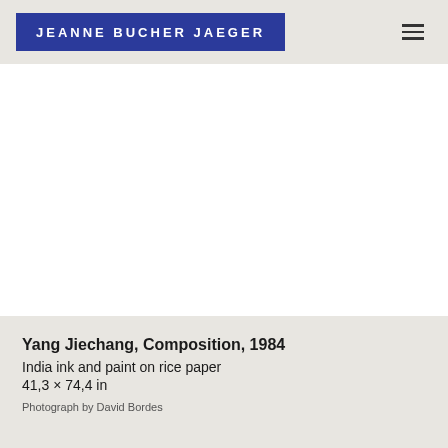JEANNE BUCHER JAEGER
[Figure (photo): White blank artwork display area representing a painting by Yang Jiechang]
Yang Jiechang, Composition, 1984
India ink and paint on rice paper
41,3 × 74,4 in
Photograph by David Bordes